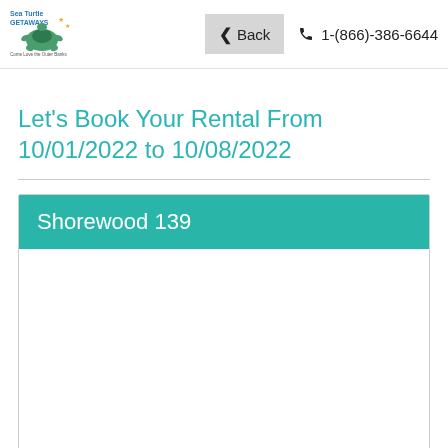Back  1-(866)-386-6644
Let's Book Your Rental From 10/01/2022 to 10/08/2022
Shorewood 139